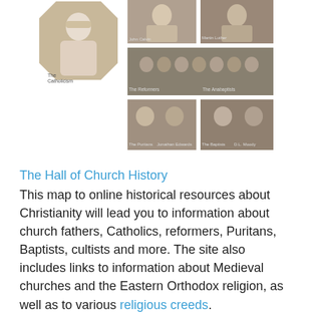[Figure (photo): Collage of historical religious figures and church history images arranged in a grid]
The Hall of Church History
This map to online historical resources about Christianity will lead you to information about church fathers, Catholics, reformers, Puritans, Baptists, cultists and more. The site also includes links to information about Medieval churches and the Eastern Orthodox religion, as well as to various religious creeds.
History of the Christian Church
Calvinist Philip Schaff penned this seven-volume series between 1858 and 1890. Each volume covers a specific era of Christianity from the apostolic era (1-100 AD) to the